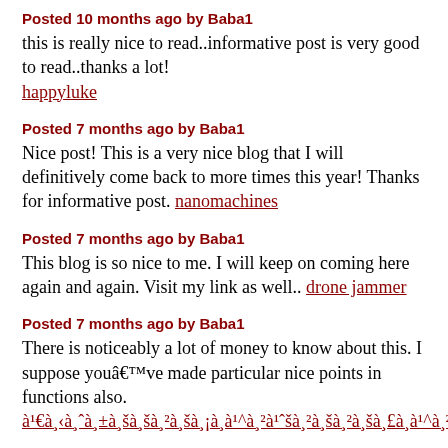Posted 10 months ago by Baba1
this is really nice to read..informative post is very good to read..thanks a lot!
happyluke
Posted 7 months ago by Baba1
Nice post! This is a very nice blog that I will definitively come back to more times this year! Thanks for informative post. nanomachines
Posted 7 months ago by Baba1
This blog is so nice to me. I will keep on coming here again and again. Visit my link as well.. drone jammer
Posted 7 months ago by Baba1
There is noticeably a lot of money to know about this. I suppose youâ€™ve made particular nice points in functions also.
à¹€à¸‹à¸ˆà¸±à¸šà¸šà¸²à£à¹^à¸²
Posted 3 months ago by Baba1
I would like to voice my gratitude for your kindness in support of those people who really want guidance on this particular study. Your personal commitment to getting the message around appeared to be exceptionally informative and has usually encouraged